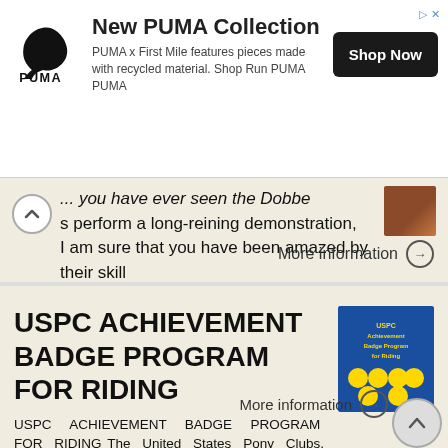[Figure (other): PUMA advertisement banner with PUMA logo, 'New PUMA Collection' heading, description text, and 'Shop Now' button]
...perform a long-reining demonstration, I am sure that you have been amazed by their skill
More information →
USPC ACHIEVEMENT BADGE PROGRAM FOR RIDING
USPC ACHIEVEMENT BADGE PROGRAM FOR RIDING The United States Pony Clubs, Inc. 4041 Iron Works Parkway Lexington, KY 40511 859-254-7669 www.ponyclub.org USPC ACHIEVEMENT BADGE PROGRAM This program was designed
More information →